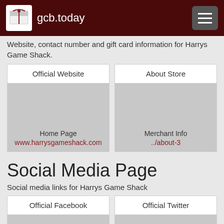gcb.today
Website, contact number and gift card information for Harrys Game Shack.
| Official Website | About Store |
| --- | --- |
| Home Page
www.harrysgameshack.com | Merchant Info
../about-3 |
Social Media Page
Social media links for Harrys Game Shack
| Official Facebook | Official Twitter |
| --- | --- |
|  |  |